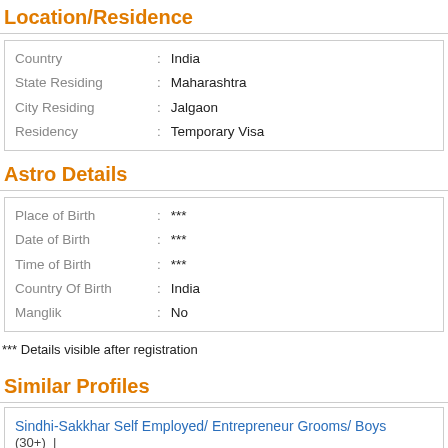Location/Residence
| Field |  | Value |
| --- | --- | --- |
| Country | : | India |
| State Residing | : | Maharashtra |
| City Residing | : | Jalgaon |
| Residency | : | Temporary Visa |
Astro Details
| Field |  | Value |
| --- | --- | --- |
| Place of Birth | : | *** |
| Date of Birth | : | *** |
| Time of Birth | : | *** |
| Country Of Birth | : | India |
| Manglik | : | No |
*** Details visible after registration
Similar Profiles
Sindhi-Sakkhar Self Employed/ Entrepreneur Grooms/ Boys (30+)  |